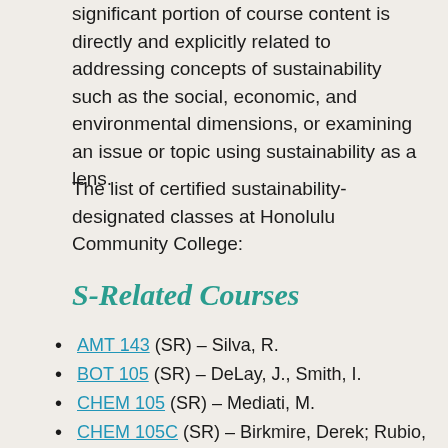significant portion of course content is directly and explicitly related to addressing concepts of sustainability such as the social, economic, and environmental dimensions, or examining an issue or topic using sustainability as a lens.
The list of certified sustainability-designated classes at Honolulu Community College:
S-Related Courses
AMT 143 (SR) – Silva, R.
BOT 105 (SR) – DeLay, J., Smith, I.
CHEM 105 (SR) – Mediati, M.
CHEM 105C (SR) – Birkmire, Derek; Rubio, B.
CHEM 161L (SR) – Birkmire, D., Rubio, B., Shinsato, D., Mediati, M.
CHEM 162L (SR) – Birkmire, D., Rubio, B.